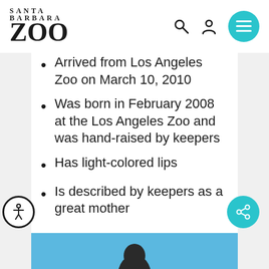SANTA BARBARA ZOO
Arrived from Los Angeles Zoo on March 10, 2010
Was born in February 2008 at the Los Angeles Zoo and was hand-raised by keepers
Has light-colored lips
Is described by keepers as a great mother
[Figure (photo): Bottom photo strip showing an animal (gorilla) against a blue sky background]